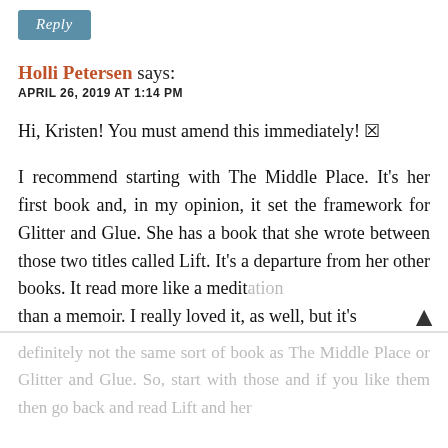[Figure (other): A teal/blue Reply button with italic text]
Holli Petersen says:
APRIL 26, 2019 AT 1:14 PM
Hi, Kristen! You must amend this immediately! 🙂
I recommend starting with The Middle Place. It's her first book and, in my opinion, it set the framework for Glitter and Glue. She has a book that she wrote between those two titles called Lift. It's a departure from her other books. It read more like a meditation than a memoir. I really loved it, as well, but it's
definitely not the same sort of book as The Middle Place or Glitter and Glue. So, start with those and if you like them then go back and read Lift and her